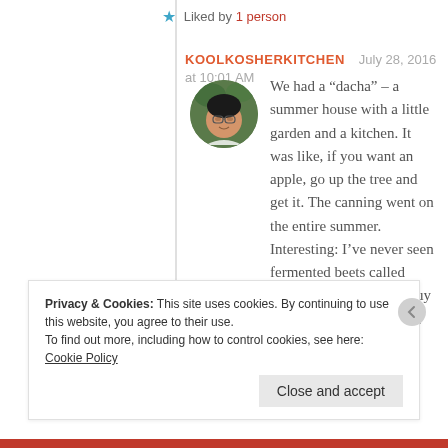★ Liked by 1 person
KOOLKOSHERKITCHEN   July 28, 2016 at 10:01 AM
We had a “dacha” – a summer house with a little garden and a kitchen. It was like, if you want an apple, go up the tree and get it. The canning went on the entire summer. Interesting: I’ve never seen fermented beets called Russel. I don’t usually buy anything pickled because they all use
Privacy & Cookies:  This site uses cookies.  By continuing to use this website, you agree to their use.
To find out more, including how to control cookies, see here: Cookie Policy
Close and accept